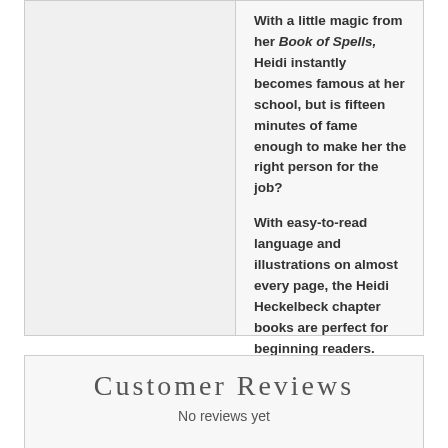With a little magic from her Book of Spells, Heidi instantly becomes famous at her school, but is fifteen minutes of fame enough to make her the right person for the job?
With easy-to-read language and illustrations on almost every page, the Heidi Heckelbeck chapter books are perfect for beginning readers.
Customer Reviews
No reviews yet